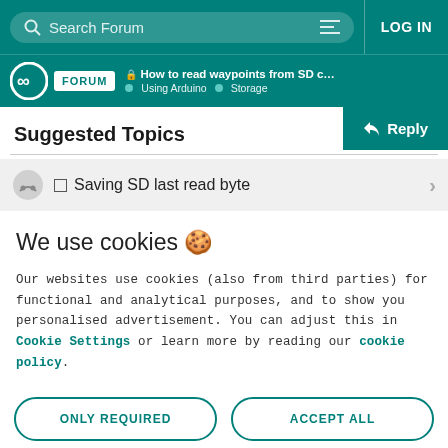Search Forum | LOG IN
FORUM | How to read waypoints from SD card usin... | Using Arduino > Storage
Suggested Topics
Reply
☐ Saving SD last read byte
We use cookies 🍪
Our websites use cookies (also from third parties) for functional and analytical purposes, and to show you personalised advertisement. You can adjust this in Cookie Settings or learn more by reading our cookie policy.
ONLY REQUIRED
ACCEPT ALL